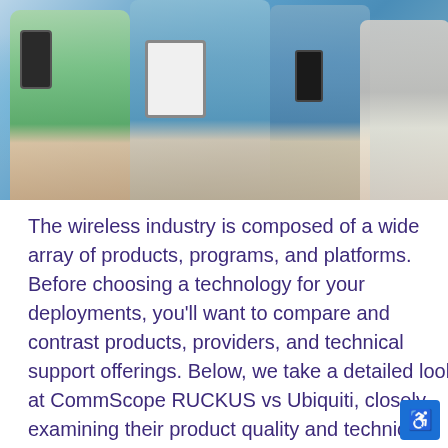[Figure (photo): Photo of people in a meeting holding smartphones and a tablet, viewed from above/side angle. Multiple people visible with mobile devices.]
The wireless industry is composed of a wide array of products, programs, and platforms. Before choosing a technology for your deployments, you'll want to compare and contrast products, providers, and technical support offerings. Below, we take a detailed look at CommScope RUCKUS vs Ubiquiti, closely examining their product quality and technical support. Learn why CommScope RUCKUS is the clear choice for your network solutions in 2022.